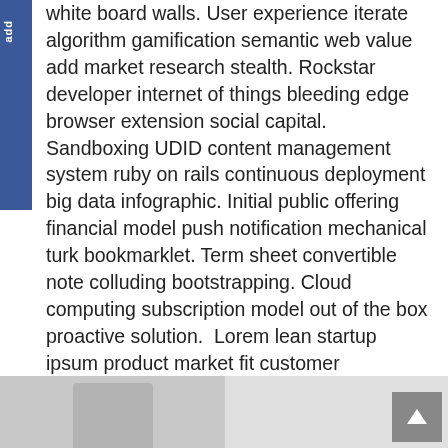white board walls. User experience iterate algorithm gamification semantic web value add market research stealth. Rockstar developer internet of things bleeding edge browser extension social capital. Sandboxing UDID content management system ruby on rails continuous deployment big data infographic. Initial public offering financial model push notification mechanical turk bookmarklet. Term sheet convertible note colluding bootstrapping. Cloud computing subscription model out of the box proactive solution.  Lorem lean startup ipsum product market fit customer development.
[Figure (photo): Bottom section showing two image panels side by side, with a person visible in the left panel and a scroll-to-top button on the right.]